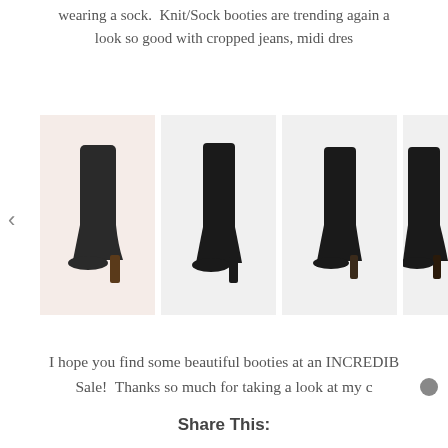wearing a sock.  Knit/Sock booties are trending again a... look so good with cropped jeans, midi dres...
[Figure (photo): Carousel of four black sock booties/ankle boots on light backgrounds, with a left arrow navigation control on the left side.]
I hope you find some beautiful booties at an INCREDIB... Sale!  Thanks so much for taking a look at my c...
Share This: